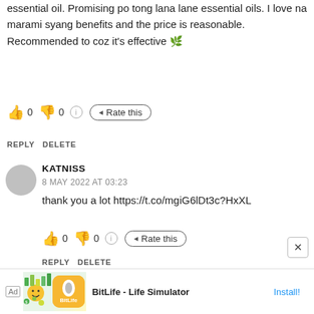essential oil. Promising po tong lana lane essential oils. I love na marami syang benefits and the price is reasonable. Recommended to coz it's effective 🌿
👍 0 👎 0 ℹ Rate this
REPLY  DELETE
KATNISS
8 MAY 2022 AT 03:23
thank you a lot https://t.co/mgiG6lDt3c?HxXL
👍 0 👎 0 ℹ Rate this
REPLY  DELETE
ROWENA CALLO VILLARENO
8 MAY 2022 AT 03:23
[Figure (screenshot): Advertisement banner for BitLife - Life Simulator app with Ad label, colorful image, and Install! button]